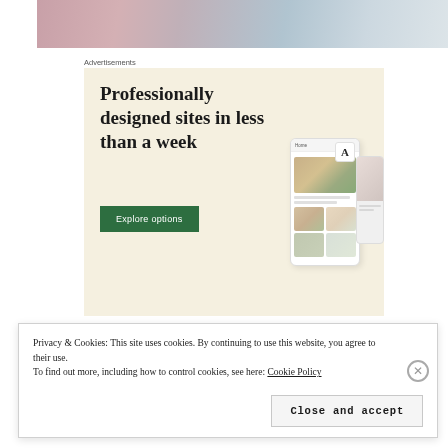[Figure (photo): Close-up photo of fingers/hand with blurred background]
Advertisements
[Figure (illustration): Advertisement banner with cream background. Headline: 'Professionally designed sites in less than a week'. Green 'Explore options' button. Mockup of website/app screens on the right side.]
Privacy & Cookies: This site uses cookies. By continuing to use this website, you agree to their use.
To find out more, including how to control cookies, see here: Cookie Policy
Close and accept